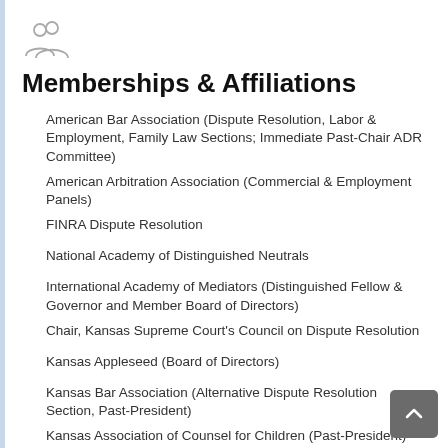[Figure (illustration): Two people / group icon in outline style, gray color]
Memberships & Affiliations
American Bar Association (Dispute Resolution, Labor & Employment, Family Law Sections; Immediate Past-Chair ADR Committee)
American Arbitration Association (Commercial & Employment Panels)
FINRA Dispute Resolution
National Academy of Distinguished Neutrals
International Academy of Mediators (Distinguished Fellow & Governor and Member Board of Directors)
Chair, Kansas Supreme Court's Council on Dispute Resolution
Kansas Appleseed (Board of Directors)
Kansas Bar Association (Alternative Dispute Resolution Section, Past-President)
Kansas Association of Counsel for Children (Past-President)
Kansas Trial Lawyers Association
Topeka Bar Associaton (Alternative Dispute